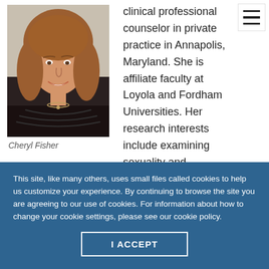[Figure (photo): Headshot photo of Cheryl Fisher, a woman with medium-length brown hair, smiling, wearing a dark top with a necklace]
Cheryl Fisher
clinical professional counselor in private practice in Annapolis, Maryland. She is affiliate faculty at Loyola and Fordham Universities. Her research interests include examining sexuality and spirituality in young
This site, like many others, uses small files called cookies to help us customize your experience. By continuing to browse the site you are agreeing to our use of cookies. For information about how to change your cookie settings, please see our cookie policy.
I ACCEPT